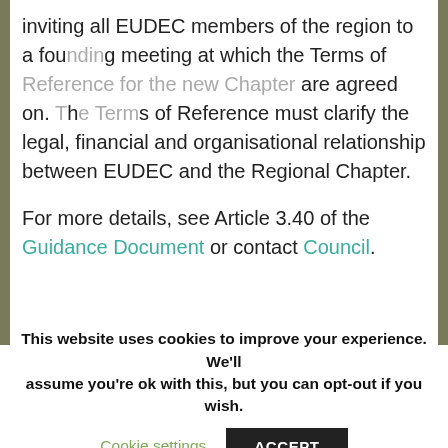inviting all EUDEC members of the region to a founding meeting at which the Terms of Reference for the new Chapter are agreed on. The Terms of Reference must clarify the legal, financial and organisational relationship between EUDEC and the Regional Chapter.
For more details, see Article 3.40 of the Guidance Document or contact Council.
This website uses cookies to improve your experience. We'll assume you're ok with this, but you can opt-out if you wish.